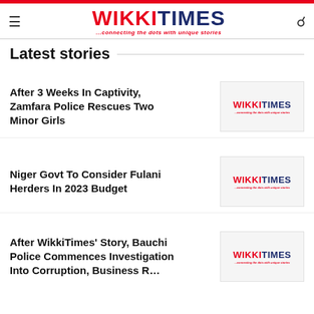WIKKITIMES — ...connecting the dots with unique stories
Latest stories
After 3 Weeks In Captivity, Zamfara Police Rescues Two Minor Girls
[Figure (logo): WikkiTimes logo thumbnail]
Niger Govt To Consider Fulani Herders In 2023 Budget
[Figure (logo): WikkiTimes logo thumbnail]
After WikkiTimes' Story, Bauchi Police Commences Investigation Into Corruption, Business R...
[Figure (logo): WikkiTimes logo thumbnail]